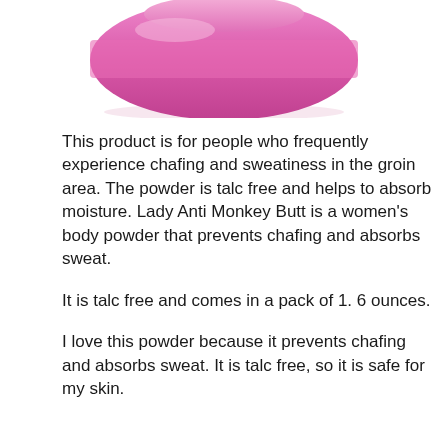[Figure (photo): Partial top view of a pink cylindrical powder container (Lady Anti Monkey Butt product) against a white background]
This product is for people who frequently experience chafing and sweatiness in the groin area. The powder is talc free and helps to absorb moisture. Lady Anti Monkey Butt is a women's body powder that prevents chafing and absorbs sweat.
It is talc free and comes in a pack of 1. 6 ounces.
I love this powder because it prevents chafing and absorbs sweat. It is talc free, so it is safe for my skin.